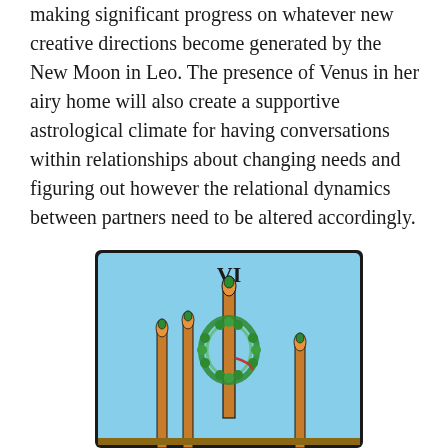making significant progress on whatever new creative directions become generated by the New Moon in Leo. The presence of Venus in her airy home will also create a supportive astrological climate for having conversations within relationships about changing needs and figuring out however the relational dynamics between partners need to be altered accordingly.
[Figure (illustration): Tarot card VI (Six of Wands) showing a light blue background with a central tall wand decorated with a laurel wreath, surrounded by five other wands topped with green leaf buds, rendered in classic Rider-Waite tarot style.]